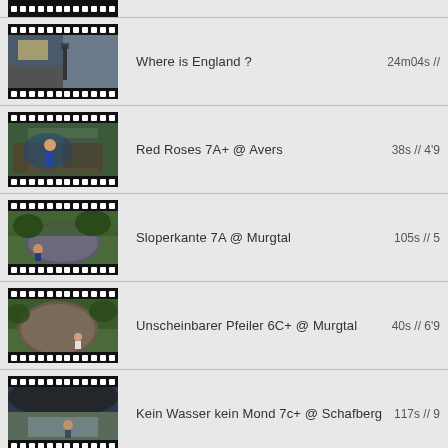Where is England ? — 24m04s
Red Roses 7A+ @ Avers — 38s // 4'9
Sloperkante 7A @ Murgtal — 105s // 5
Unscheinbarer Pfeiler 6C+ @ Murgtal — 40s // 6'9
Kein Wasser kein Mond 7c+ @ Schafberg — 117s // 9